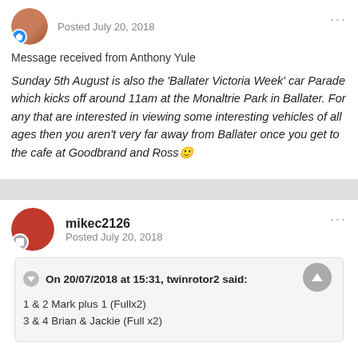Posted July 20, 2018
Message received from Anthony Yule
Sunday 5th August is also the ‘Ballater Victoria Week’ car Parade which kicks off around 11am at the Monaltrie Park in Ballater. For any that are interested in viewing some interesting vehicles of all ages then you aren’t very far away from Ballater once you get to the cafe at Goodbrand and Ross🙂
mikec2126
Posted July 20, 2018
On 20/07/2018 at 15:31, twinrotor2 said:
1 & 2 Mark plus 1 (Fullx2)
3 & 4 Brian & Jackie (Full x2)